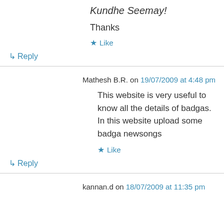Kundhe Seemay!
Thanks
★ Like
↳ Reply
Mathesh B.R. on 19/07/2009 at 4:48 pm
This website is very useful to know all the details of badgas. In this website upload some badga newsongs
★ Like
↳ Reply
kannan.d on 18/07/2009 at 11:35 pm